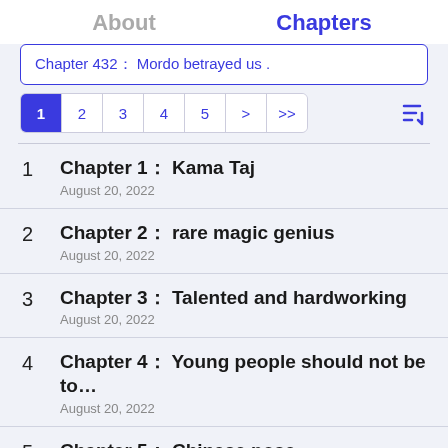About   Chapters
Chapter 432： Mordo betrayed us .
1  2  3  4  5  >  >>
1  Chapter 1： Kama Taj  August 20, 2022
2  Chapter 2： rare magic genius  August 20, 2022
3  Chapter 3： Talented and hardworking  August 20, 2022
4  Chapter 4： Young people should not be to…  August 20, 2022
5  Chapter 5： Chinese pose  August 20, 2022